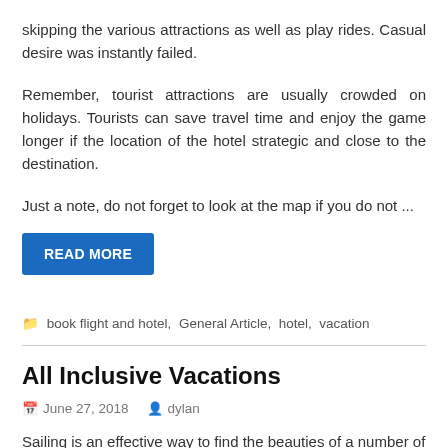skipping the various attractions as well as play rides. Casual desire was instantly failed.
Remember, tourist attractions are usually crowded on holidays. Tourists can save travel time and enjoy the game longer if the location of the hotel strategic and close to the destination.
Just a note, do not forget to look at the map if you do not ...
READ MORE
📁 book flight and hotel, General Article, hotel, vacation
All Inclusive Vacations
📅 June 27, 2018   👤 dylan
Sailing is an effective way to find the beauties of a number of areas such because the Caribbean islands, Hawaiian Islands, Bahamas, The idea. Come across lots of different, exotic places...